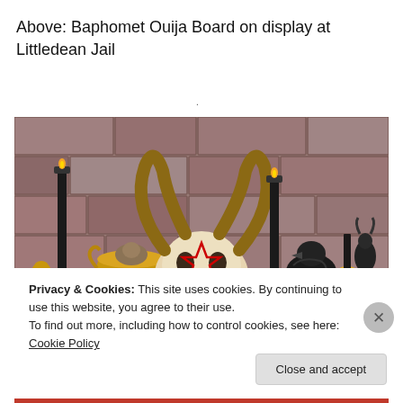Above: Baphomet Ouija Board on display at Littledean Jail
[Figure (photo): Photo of occult/witchcraft display items arranged against a stone wall: ram skull with red pentagram star, horns, black tapered candles in brass candlestick holders, a brass cauldron pot, a crow/raven figurine, brass bell, and a dark horned figurine statue. All items are arranged on a dark surface against a reddish-brown sandstone brick wall.]
Privacy & Cookies: This site uses cookies. By continuing to use this website, you agree to their use.
To find out more, including how to control cookies, see here: Cookie Policy